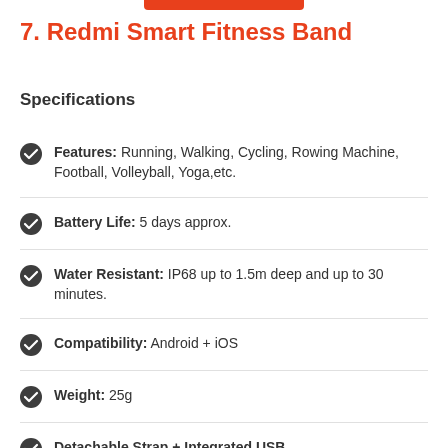7. Redmi Smart Fitness Band
Specifications
Features: Running, Walking, Cycling, Rowing Machine, Football, Volleyball, Yoga,etc.
Battery Life: 5 days approx.
Water Resistant: IP68 up to 1.5m deep and up to 30 minutes.
Compatibility: Android + iOS
Weight: 25g
Detachable Strap + Integrated USB